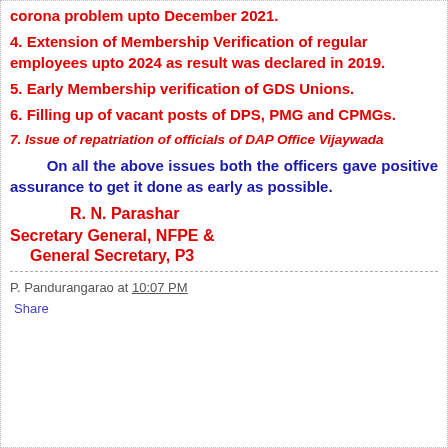corona problem upto December 2021.
4. Extension of Membership Verification of regular employees upto 2024 as result was declared in 2019.
5. Early Membership verification of GDS Unions.
6. Filling up of vacant posts of DPS, PMG and CPMGs.
7. Issue of repatriation of officials of DAP Office Vijaywada
On all the above issues both the officers gave positive assurance to get it done as early as possible.
R. N. Parashar
Secretary General, NFPE &
General Secretary, P3
P. Pandurangarao at 10:07 PM
Share